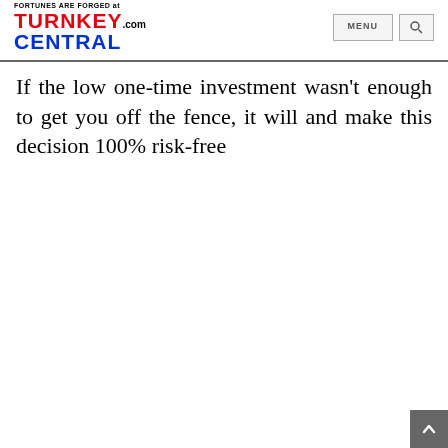FORTUNES ARE FORGED at TURNKEYCENTRAL.com | MENU | Search
If the low one-time investment wasn't enough to get you off the fence, it will and make this decision 100% risk-free